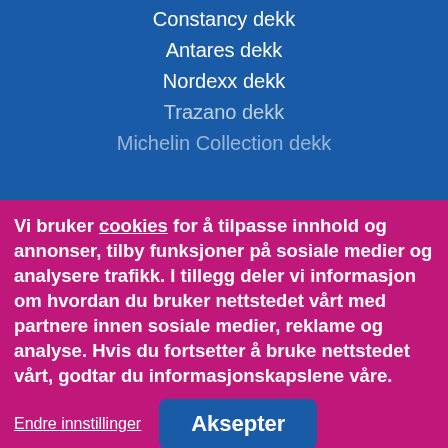Constancy dekk
Antares dekk
Nordexx dekk
Trazano dekk
Michelin Collection dekk
Vi bruker cookies for å tilpasse innhold og annonser, tilby funksjoner på sosiale medier og analysere trafikk. I tillegg deler vi informasjon om hvordan du bruker nettstedet vårt med partnere innen sosiale medier, reklame og analyse. Hvis du fortsetter å bruke nettstedet vårt, godtar du informasjonskapslene våre.
Endre innstillinger
Aksepter